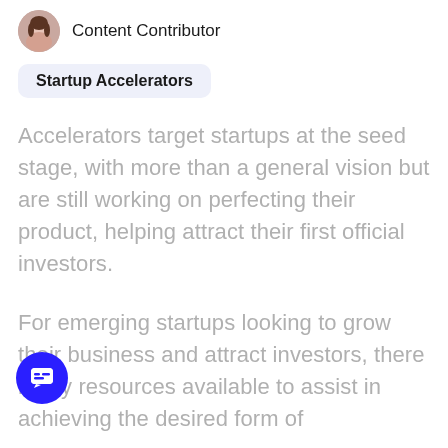[Figure (photo): Small circular avatar photo of a woman, profile picture]
Content Contributor
Startup Accelerators
Accelerators target startups at the seed stage, with more than a general vision but are still working on perfecting their product, helping attract their first official investors.
For emerging startups looking to grow their business and attract investors, there many resources available to assist in achieving the desired form of
[Figure (illustration): Blue circular chat/messaging button overlay in bottom-left corner]